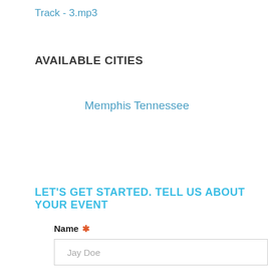Track - 3.mp3
AVAILABLE CITIES
Memphis Tennessee
LET'S GET STARTED. TELL US ABOUT YOUR EVENT
Name *
Jay Doe